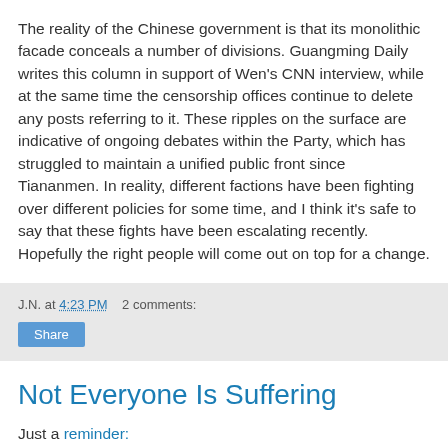The reality of the Chinese government is that its monolithic facade conceals a number of divisions. Guangming Daily writes this column in support of Wen's CNN interview, while at the same time the censorship offices continue to delete any posts referring to it. These ripples on the surface are indicative of ongoing debates within the Party, which has struggled to maintain a unified public front since Tiananmen. In reality, different factions have been fighting over different policies for some time, and I think it's safe to say that these fights have been escalating recently. Hopefully the right people will come out on top for a change.
J.N. at 4:23 PM    2 comments:
Not Everyone Is Suffering
Just a reminder: